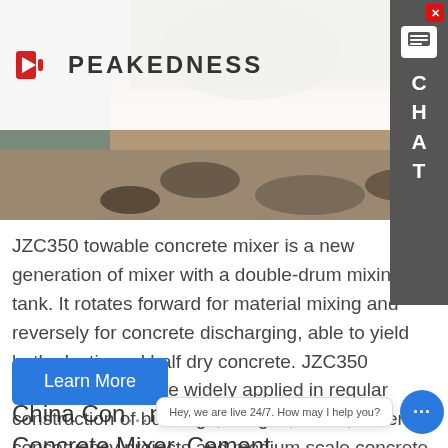[Figure (photo): Hero banner photo of a concrete mixer truck or construction material site, showing aggregate/gravel in earthy tones with a Peakedness logo overlay in the top-left]
PEAKEDNESS
JZC350 towable concrete mixer is a new generation of mixer with a double-drum mixing tank. It rotates forward for material mixing and reversely for concrete discharging, able to yield both plastic and half dry concrete. JZC350 concrete mixers are widely applied in regular construction of buildings, bridges, roads, water conservancy projects and medium scale concrete parts factories. get price
Learn More
China Con... n Concrete Mixer, Cement